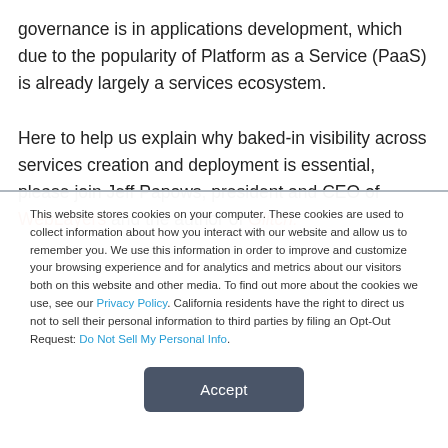governance is in applications development, which due to the popularity of Platform as a Service (PaaS) is already largely a services ecosystem.

Here to help us explain why baked-in visibility across services creation and deployment is essential, please join Jeff Papows, president and CEO of WebLayers and the author of Glitch:
This website stores cookies on your computer. These cookies are used to collect information about how you interact with our website and allow us to remember you. We use this information in order to improve and customize your browsing experience and for analytics and metrics about our visitors both on this website and other media. To find out more about the cookies we use, see our Privacy Policy. California residents have the right to direct us not to sell their personal information to third parties by filing an Opt-Out Request: Do Not Sell My Personal Info.
Accept